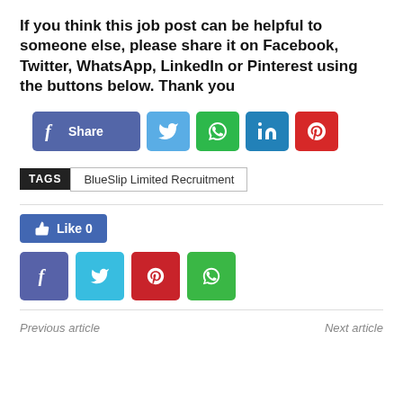If you think this job post can be helpful to someone else, please share it on Facebook, Twitter, WhatsApp, LinkedIn or Pinterest using the buttons below. Thank you
[Figure (infographic): Social share buttons: Facebook share button (blue/purple with f icon and Share label), Twitter button (light blue with bird icon), WhatsApp button (green with phone icon), LinkedIn button (blue), Pinterest button (red)]
TAGS   BlueSlip Limited Recruitment
[Figure (infographic): Like button (blue, with thumbs up icon, showing 0 likes) and four social media buttons: Facebook (dark blue), Twitter (cyan), Pinterest (red), WhatsApp (green)]
Previous article
Next article